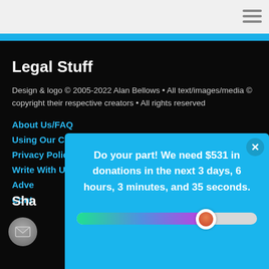Legal Stuff
Design & logo © 2005-2022 Alan Bellows • All text/images/media © copyright their respective creators • All rights reserved
About Us/FAQ
Using Our Content
Privacy Policy
Write With Us
Adve...
Cont...
Sha...
[Figure (screenshot): Popup overlay with cyan/blue background showing donation prompt with progress bar]
Do your part! We need $531 in donations in the next 3 days, 6 hours, 3 minutes, and 35 seconds.